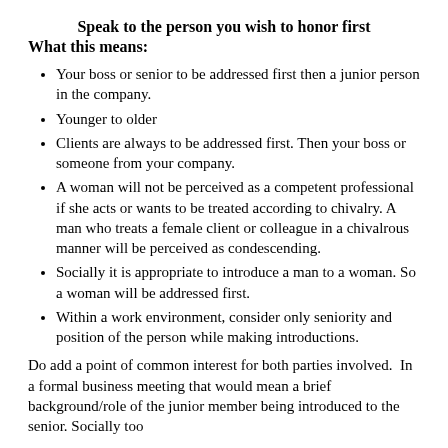Speak to the person you wish to honor first
What this means:
Your boss or senior to be addressed first then a junior person in the company.
Younger to older
Clients are always to be addressed first. Then your boss or someone from your company.
A woman will not be perceived as a competent professional if she acts or wants to be treated according to chivalry. A man who treats a female client or colleague in a chivalrous manner will be perceived as condescending.
Socially it is appropriate to introduce a man to a woman. So a woman will be addressed first.
Within a work environment, consider only seniority and position of the person while making introductions.
Do add a point of common interest for both parties involved. In a formal business meeting that would mean a brief background/role of the junior member being introduced to the senior. Socially too